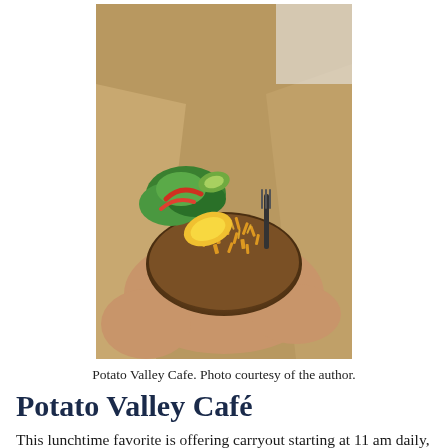[Figure (photo): A baked potato topped with shredded cheddar cheese, fresh salad greens, cucumber, red pepper, mango, and a fork, served in a paper/cardboard tray holder.]
Potato Valley Cafe. Photo courtesy of the author.
Potato Valley Café
This lunchtime favorite is offering carryout starting at 11 am daily, and running until 1:30 pm or so, as demand